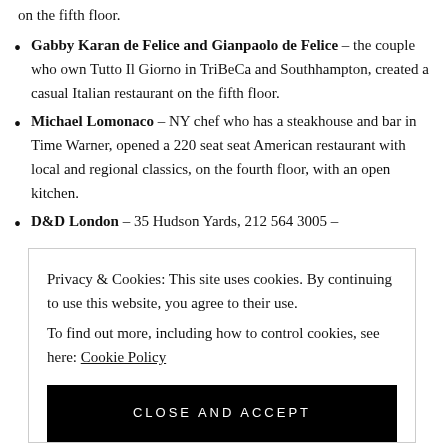on the fifth floor.
Gabby Karan de Felice and Gianpaolo de Felice – the couple who own Tutto Il Giorno in TriBeCa and Southhampton, created a casual Italian restaurant on the fifth floor.
Michael Lomonaco – NY chef who has a steakhouse and bar in Time Warner, opened a 220 seat seat American restaurant with local and regional classics, on the fourth floor, with an open kitchen.
D&D London – 35 Hudson Yards, 212 564 3005 –
Privacy & Cookies: This site uses cookies. By continuing to use this website, you agree to their use.
To find out more, including how to control cookies, see here: Cookie Policy
CLOSE AND ACCEPT